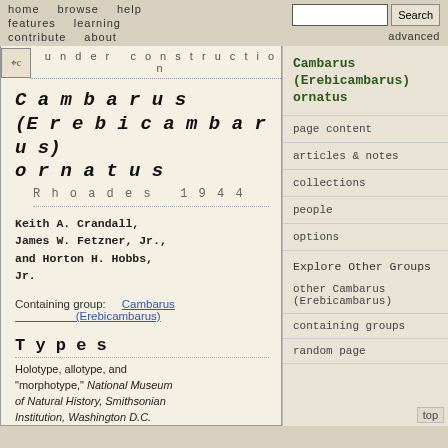home   browse   help   features   learning   contribute   about
Cambarus (Erebicambarus) ornatus
Rhoades 1944
Keith A. Crandall, James W. Fetzner, Jr., and Horton H. Hobbs, Jr.
Containing group:   Cambarus (Erebicambarus)
Types
Holotype, allotype, and "morphotype," National Museum of Natural History, Smithsonian Institution, Washington D.C. 81330, 81331, 81332 (male I, female, male II); paratypes, Museum of Comparative Zoology,
Cambarus (Erebicambarus) ornatus
page content
articles & notes
collections
people
options
Explore Other Groups
other Cambarus (Erebicambarus)
containing groups
random page